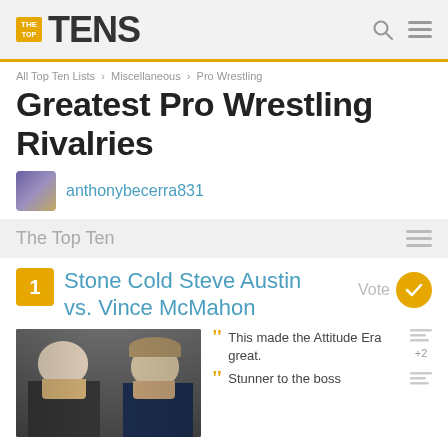THE TOP TENS
All Top Ten Lists › Miscellaneous › Pro Wrestling
Greatest Pro Wrestling Rivalries
anthonybecerra831
The Top Ten
1 Stone Cold Steve Austin vs. Vince McMahon
[Figure (photo): Photo of Stone Cold Steve Austin and Vince McMahon facing each other]
This made the Attitude Era great.
Stunner to the boss